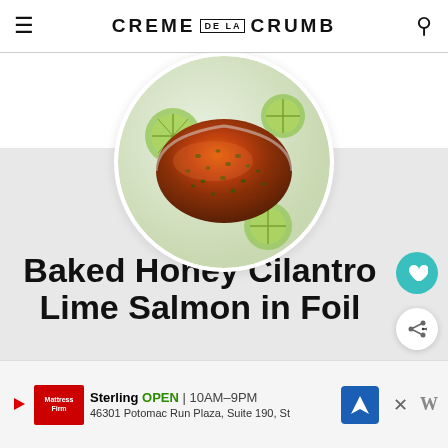CREME DE LA CRUMB
[Figure (photo): Circular photo of baked honey cilantro lime salmon on a sheet pan with lime slices, viewed from above]
Baked Honey Cilantro Lime Salmon in Foil
Baked honey cilantro lime salmon baked in foil to tender, flaky perfection in just 30 minutes with a flavorful garlic and honey lime glaze.
[Figure (photo): WHAT'S NEXT thumbnail: Sheet Pan Salmon and...]
Sterling  OPEN  10AM–9PM  46301 Potomac Run Plaza, Suite 190, St